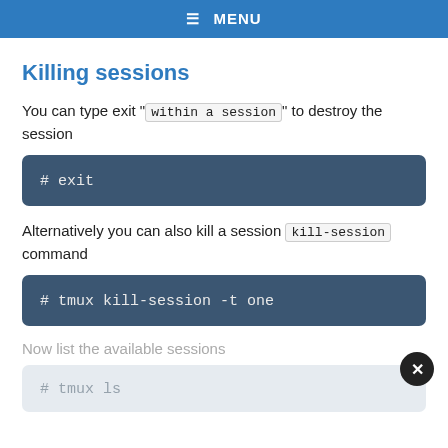≡ MENU
Killing sessions
You can type exit "within a session" to destroy the session
# exit
Alternatively you can also kill a session kill-session command
# tmux kill-session -t one
Now list the available sessions
# tmux ls